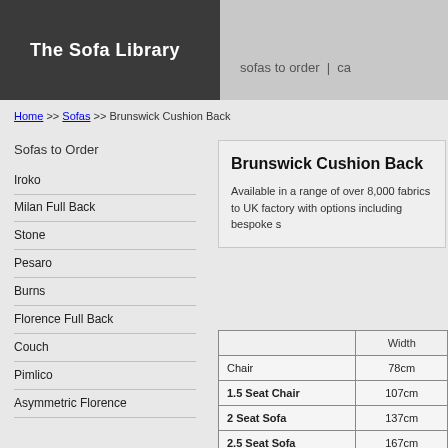The Sofa Library
sofas to order  |  ca
Home >> Sofas >> Brunswick Cushion Back
Sofas to Order
Iroko
Milan Full Back
Stone
Pesaro
Burns
Florence Full Back
Couch
Pimlico
Asymmetric Florence
Brunswick Cushion Back
Available in a range of over 8,000 fabrics to UK factory with options including bespoke s
|  | Width |
| --- | --- |
| Chair | 78cm |
| 1.5 Seat Chair | 107cm |
| 2 Seat Sofa | 137cm |
| 2.5 Seat Sofa | 167cm |